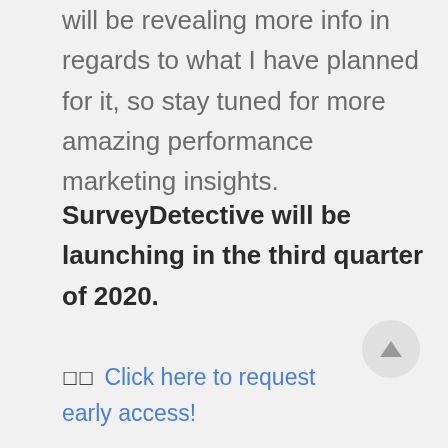will be revealing more info in regards to what I have planned for it, so stay tuned for more amazing performance marketing insights.
SurveyDetective will be launching in the third quarter of 2020.
☐☐ Click here to request early access!